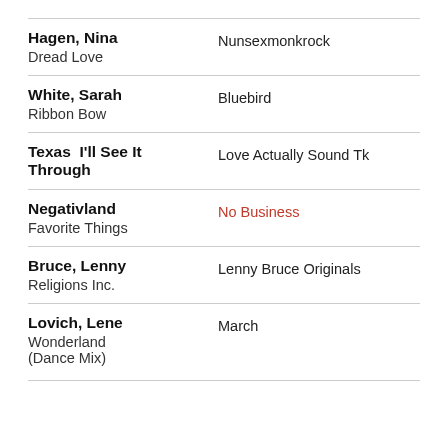Hagen, Nina | Dread Love | Nunsexmonkrock
White, Sarah | Ribbon Bow | Bluebird
Texas I'll See It Through | Love Actually Sound Tk
Negativland | Favorite Things | No Business
Bruce, Lenny | Religions Inc. | Lenny Bruce Originals
Lovich, Lene | Wonderland (Dance Mix) | March